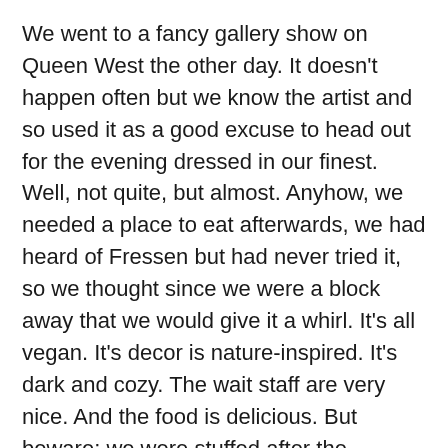We went to a fancy gallery show on Queen West the other day. It doesn't happen often but we know the artist and so used it as a good excuse to head out for the evening dressed in our finest. Well, not quite, but almost. Anyhow, we needed a place to eat afterwards, we had heard of Fressen but had never tried it, so we thought since we were a block away that we would give it a whirl. It's all vegan. It's decor is nature-inspired. It's dark and cozy. The wait staff are very nice. And the food is delicious. But beware: we were stuffed after the appetizer. The portions are huge so factor that into your ordering.
They have all sorts of cold tapas from basil humus to spicy red lentil balls. We skipped those and headed right to pan seared mixed mushrooms on sesame spinach with lemon garlic sauce, and, for Andrew, seared polenta with herbed tomatoes, and shiitake mushrooms with balsamic...